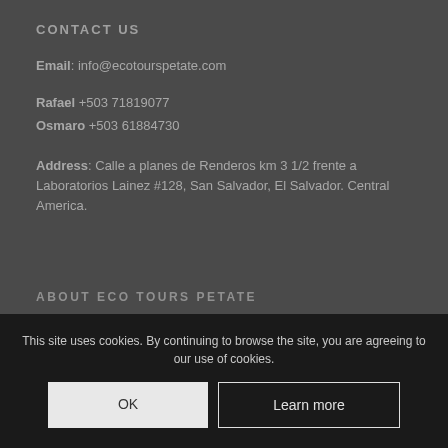CONTACT US
Email: info@ecotourspetate.com
Rafael +503 71819077
Osmaro +503 61884730
Address: Calle a planes de Renderos km 3 1/2 frente a Laboratorios Lainez #128, San Salvador, El Salvador. Central America.
ABOUT ECO TOURS PETATE
General Conditions
This site uses cookies. By continuing to browse the site, you are agreeing to our use of cookies.
OK
Learn more